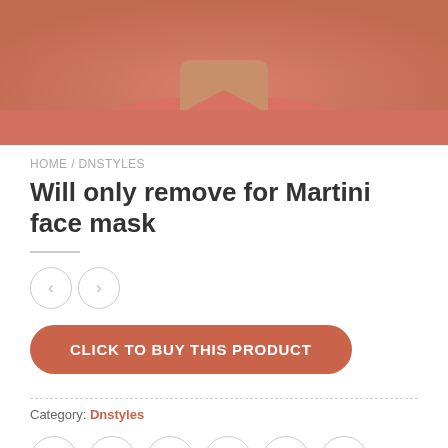[Figure (photo): Photo of a person wearing a salmon/coral pink t-shirt, cropped at the neck/collar area, showing the lower chin and upper chest/shirt collar.]
HOME / DNSTYLES
Will only remove for Martini face mask
CLICK TO BUY THIS PRODUCT
Category: Dnstyles
[Figure (other): Social sharing icons: WhatsApp, Facebook, Twitter, Email, Pinterest, LinkedIn — each in a circle outline]